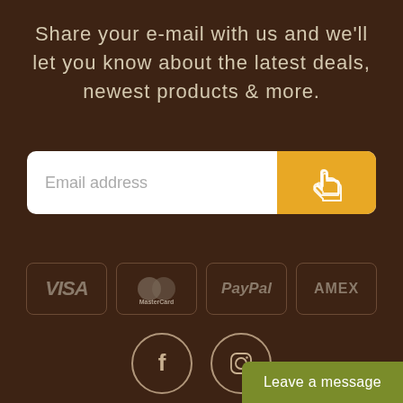Share your e-mail with us and we'll let you know about the latest deals, newest products & more.
[Figure (other): Email address input field with yellow submit button featuring a pointing hand icon]
[Figure (other): Payment method icons: VISA, MasterCard, PayPal, AMEX in rounded rectangle borders]
[Figure (other): Social media icons: Facebook and Instagram in circular borders]
Leave a message